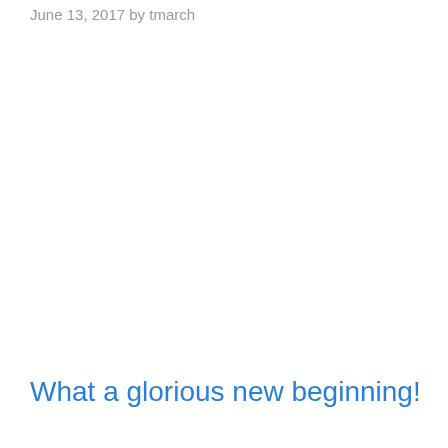June 13, 2017 by tmarch
What a glorious new beginning!